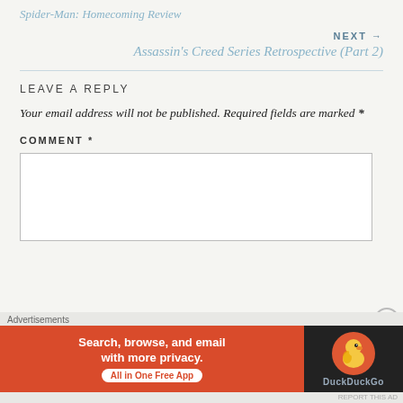Spider-Man: Homecoming Review
NEXT → Assassin's Creed Series Retrospective (Part 2)
LEAVE A REPLY
Your email address will not be published. Required fields are marked *
COMMENT *
[Figure (screenshot): Empty comment textarea input box]
[Figure (infographic): DuckDuckGo advertisement banner: 'Search, browse, and email with more privacy. All in One Free App' with DuckDuckGo logo on dark background]